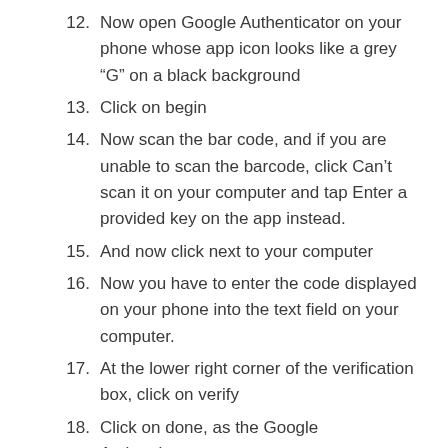12. Now open Google Authenticator on your phone whose app icon looks like a grey “G” on a black background
13. Click on begin
14. Now scan the bar code, and if you are unable to scan the barcode, click Can’t scan it on your computer and tap Enter a provided key on the app instead.
15. And now click next to your computer
16. Now you have to enter the code displayed on your phone into the text field on your computer.
17. At the lower right corner of the verification box, click on verify
18. Click on done, as the Google Authenticator on